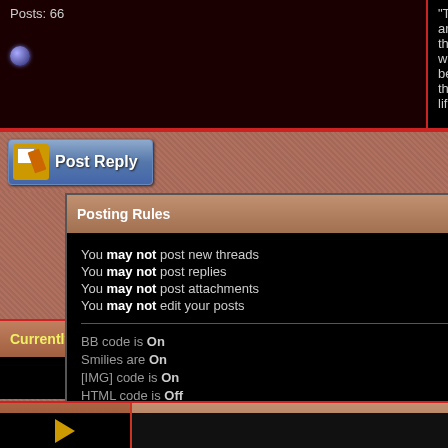Posts: 66
"There are those who believe that life
[Figure (other): Post Reply button with blue gradient background and icon]
Currently Active Users Viewing This Thread: 1 (0 members and 1 g
Posting Rules
You may not post new threads
You may not post replies
You may not post attachments
You may not edit your posts
BB code is On
Smilies are On
[IMG] code is On
HTML code is Off
Forum Rules